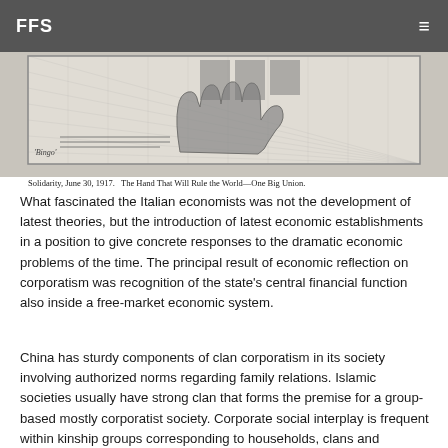FFS ≡
[Figure (illustration): Black and white illustration of a hand, captioned 'Solidarity, June 30, 1917. The Hand That Will Rule the World—One Big Union.']
Solidarity, June 30, 1917.   The Hand That Will Rule the World—One Big Union.
What fascinated the Italian economists was not the development of latest theories, but the introduction of latest economic establishments in a position to give concrete responses to the dramatic economic problems of the time. The principal result of economic reflection on corporatism was recognition of the state's central financial function also inside a free-market economic system.
China has sturdy components of clan corporatism in its society involving authorized norms regarding family relations. Islamic societies usually have strong clan that forms the premise for a group-based mostly corporatist society. Corporate social interplay is frequent within kinship groups corresponding to households, clans and ethnicities. Aside from humans, certain animal species are recognized to exhibit strong corporate social group, such as penguins. Etymologically, corporatism derives from the Latin